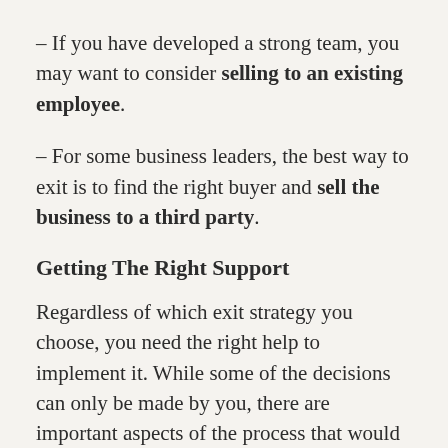– If you have developed a strong team, you may want to consider selling to an existing employee.
– For some business leaders, the best way to exit is to find the right buyer and sell the business to a third party.
Getting The Right Support
Regardless of which exit strategy you choose, you need the right help to implement it. While some of the decisions can only be made by you, there are important aspects of the process that would best benefit from professional support. From working with an accountant to ensure that…